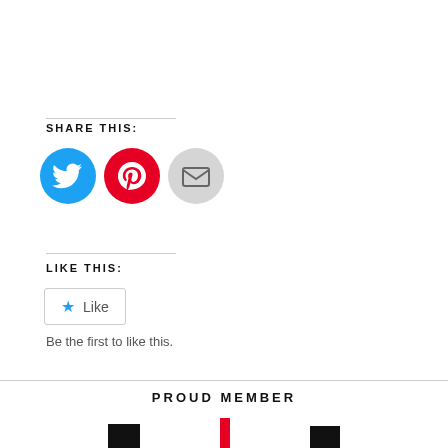SHARE THIS:
[Figure (infographic): Three circular social share buttons: Twitter (blue), Pinterest (red), Email (gray)]
LIKE THIS:
[Figure (infographic): Like button widget with star icon and text 'Like', below text: Be the first to like this.]
Be the first to like this.
PROUD MEMBER
[Figure (logo): Three partial logos at bottom of page representing proud member organizations]